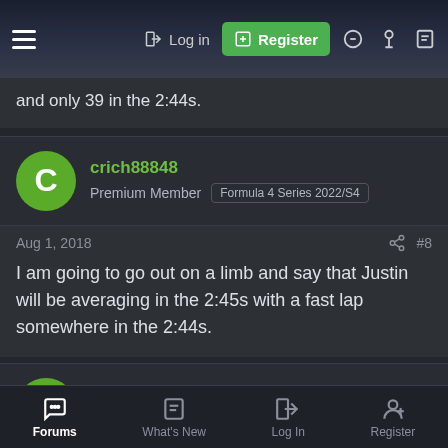Log in | Register
and only 39 in the 2:44s.
crich88848
Premium Member | Formula 4 Series 2022/S4
Aug 1, 2018   #8
I am going to go out on a limb and say that Justin will be averaging in the 2:45s with a fast lap somewhere in the 2:44s.
paulwildridge
Premium Member
Aug 1, 2018   #9
Forums | What's New | Log In | Register